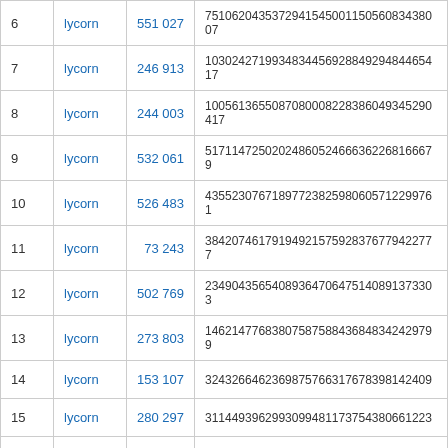| # | name | number | hash |
| --- | --- | --- | --- |
| 6 | lycorn | 551 027 | 75106204353729415450011505608343800​7 |
| 7 | lycorn | 246 913 | 103024271993483445692884929484465417 |
| 8 | lycorn | 244 003 | 100561365508708000822838604934529041​7 |
| 9 | lycorn | 532 061 | 517114725020248605246663622681666​79 |
| 10 | lycorn | 526 483 | 435523076718977238259806057122997​61 |
| 11 | lycorn | 73 243 | 384207461791949215759283767794227​77 |
| 12 | lycorn | 502 769 | 234904356540893647064751408913733​03 |
| 13 | lycorn | 273 803 | 146214776838075875884368483424297​99 |
| 14 | lycorn | 153 107 | 324326646236987576631767839814240​9 |
| 15 | lycorn | 280 297 | 311449396299309948117375438066122​3 |
| 16 | lycorn | 511 409 | 294809345348874969915462712960943​9 |